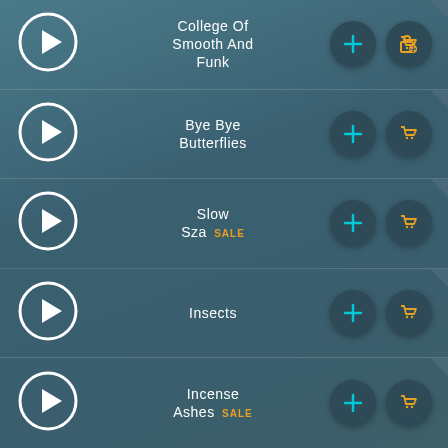College Of Smooth And Funk
Bye Bye Butterflies
Slow Sza SALE
Insects
Incense Ashes SALE